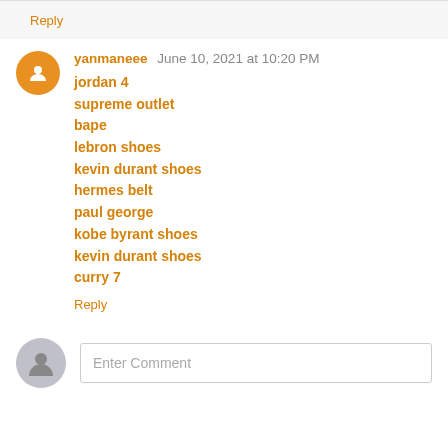Reply
yanmaneee  June 10, 2021 at 10:20 PM
jordan 4
supreme outlet
bape
lebron shoes
kevin durant shoes
hermes belt
paul george
kobe byrant shoes
kevin durant shoes
curry 7
Reply
Enter Comment